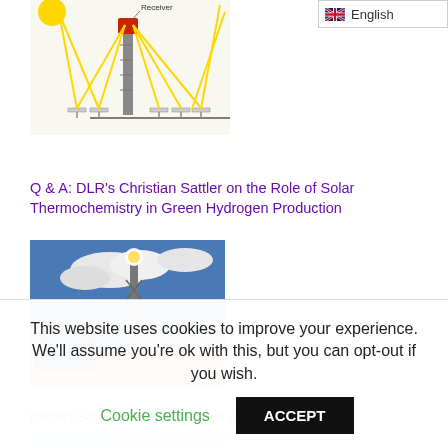English
[Figure (illustration): Diagram of a solar tower (central receiver) system with heliostats reflecting sunlight toward a receiver on top of a tall tower. Yellow arrows show light paths from the sun and mirrors. A sun illustration appears at top left. Label 'Receiver' points to the top of the tower.]
Q & A: DLR's Christian Sattler on the Role of Solar Thermochemistry in Green Hydrogen Production
[Figure (photo): Photograph of a solar power tower facility with heliostats (mirrors) in the foreground and a tall metal tower structure with a bright receiver at the top against a blue sky with clouds.]
Desert Solar to Fuel Centuries of Air Travel
[Figure (photo): Photograph showing an airplane wing tip against a bright sky, suggesting air travel powered by solar energy.]
This website uses cookies to improve your experience. We'll assume you're ok with this, but you can opt-out if you wish.
Cookie settings   ACCEPT